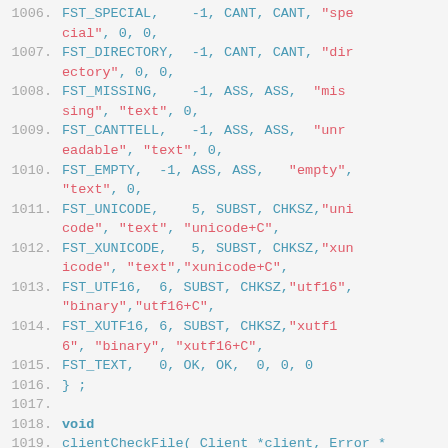Code listing lines 1006-1020 showing C source code with FST constants and clientCheckFile function
1006.     FST_SPECIAL,    -1, CANT, CANT, "special", 0, 0,
1007.     FST_DIRECTORY,  -1, CANT, CANT, "directory", 0, 0,
1008.     FST_MISSING,    -1, ASS, ASS,  "missing", "text", 0,
1009.     FST_CANTTELL,   -1, ASS, ASS,  "unreadable", "text", 0,
1010.     FST_EMPTY,  -1, ASS, ASS,   "empty", "text", 0,
1011.     FST_UNICODE,    5, SUBST, CHKSZ,"unicode", "text", "unicode+C",
1012.     FST_XUNICODE,   5, SUBST, CHKSZ,"xunicode", "text","xunicode+C",
1013.     FST_UTF16,  6, SUBST, CHKSZ,"utf16", "binary","utf16+C",
1014.     FST_XUTF16, 6, SUBST, CHKSZ,"xutf16", "binary", "xutf16+C",
1015.     FST_TEXT,   0, OK, OK,  0, 0, 0
1016. } ;
1017.
1018. void
1019. clientCheckFile( Client *client, Error *e )
1020. {